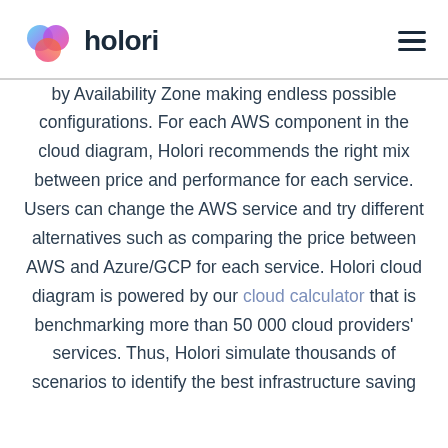[Figure (logo): Holori logo with colorful cloud icon and bold 'holori' wordmark]
by Availability Zone making endless possible configurations. For each AWS component in the cloud diagram, Holori recommends the right mix between price and performance for each service. Users can change the AWS service and try different alternatives such as comparing the price between AWS and Azure/GCP for each service. Holori cloud diagram is powered by our cloud calculator that is benchmarking more than 50 000 cloud providers' services. Thus, Holori simulate thousands of scenarios to identify the best infrastructure saving